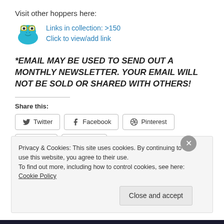Visit other hoppers here:
[Figure (illustration): Blue cartoon frog icon with glasses next to text: Links in collection: >150 / Click to view/add link]
*EMAIL MAY BE USED TO SEND OUT A MONTHLY NEWSLETTER. YOUR EMAIL WILL NOT BE SOLD OR SHARED WITH OTHERS!
Share this:
[Figure (screenshot): Social share buttons: Twitter, Facebook, Pinterest, Email, Tumblr]
Privacy & Cookies: This site uses cookies. By continuing to use this website, you agree to their use.
To find out more, including how to control cookies, see here: Cookie Policy